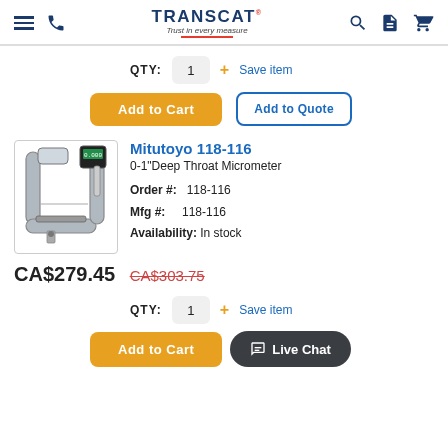TRANSCAT — Trust in every measure
QTY: 1 + Save item
Add to Cart | Add to Quote
[Figure (photo): Photo of Mitutoyo 118-116 Deep Throat Micrometer, a U-shaped silver micrometer with digital readout]
Mitutoyo 118-116
0-1"Deep Throat Micrometer
Order #: 118-116
Mfg #: 118-116
Availability: In stock
CA$279.45  CA$303.75
QTY: 1 + Save item
Add to Cart | Live Chat